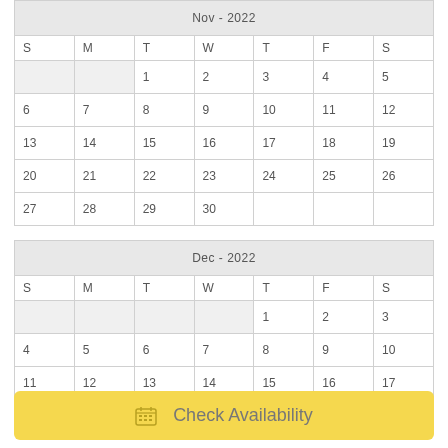| S | M | T | W | T | F | S |
| --- | --- | --- | --- | --- | --- | --- |
|  |  | 1 | 2 | 3 | 4 | 5 |
| 6 | 7 | 8 | 9 | 10 | 11 | 12 |
| 13 | 14 | 15 | 16 | 17 | 18 | 19 |
| 20 | 21 | 22 | 23 | 24 | 25 | 26 |
| 27 | 28 | 29 | 30 |  |  |  |
| S | M | T | W | T | F | S |
| --- | --- | --- | --- | --- | --- | --- |
|  |  |  |  | 1 | 2 | 3 |
| 4 | 5 | 6 | 7 | 8 | 9 | 10 |
| 11 | 12 | 13 | 14 | 15 | 16 | 17 |
| 18 | 19 | 20 | 21 | 22 | 23 | 24 |
Check Availability